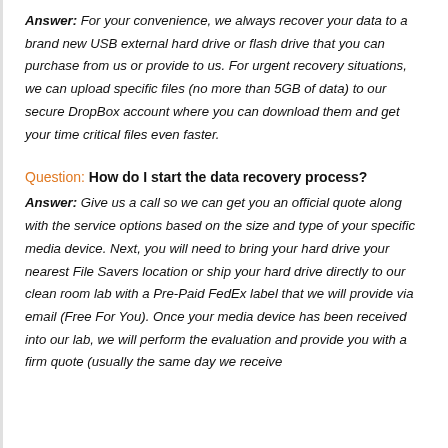Answer: For your convenience, we always recover your data to a brand new USB external hard drive or flash drive that you can purchase from us or provide to us. For urgent recovery situations, we can upload specific files (no more than 5GB of data) to our secure DropBox account where you can download them and get your time critical files even faster.
Question: How do I start the data recovery process?
Answer: Give us a call so we can get you an official quote along with the service options based on the size and type of your specific media device. Next, you will need to bring your hard drive your nearest File Savers location or ship your hard drive directly to our clean room lab with a Pre-Paid FedEx label that we will provide via email (Free For You). Once your media device has been received into our lab, we will perform the evaluation and provide you with a firm quote (usually the same day we receive